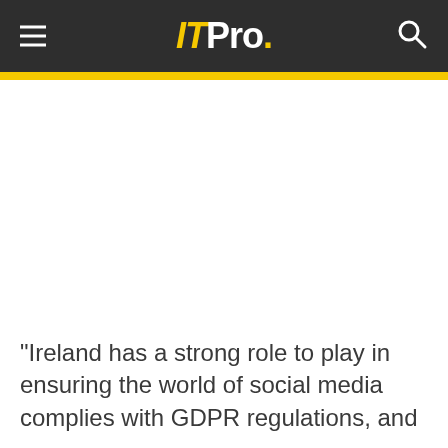ITPro.
"Ireland has a strong role to play in ensuring the world of social media complies with GDPR regulations, and